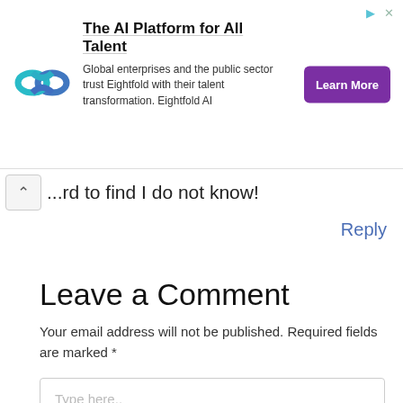[Figure (other): Advertisement banner for Eightfold AI — The AI Platform for All Talent. Logo on left (teal/blue infinity-like symbol), text in center, 'Learn More' purple button on right.]
...hard to find I do not know!
Reply
Leave a Comment
Your email address will not be published. Required fields are marked *
Type here..